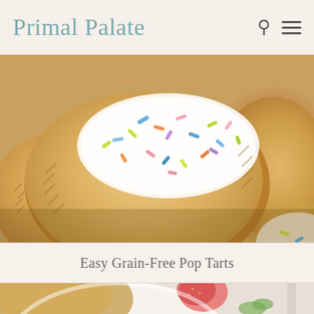Primal Palate
[Figure (photo): Close-up photo of grain-free pop tarts with white icing and colorful sprinkles on top, showing their crimped edges and golden-brown pastry texture]
Easy Grain-Free Pop Tarts
[Figure (photo): Partial blurred photo of a strawberry pop tart on a white plate with a strawberry and green herbs visible]